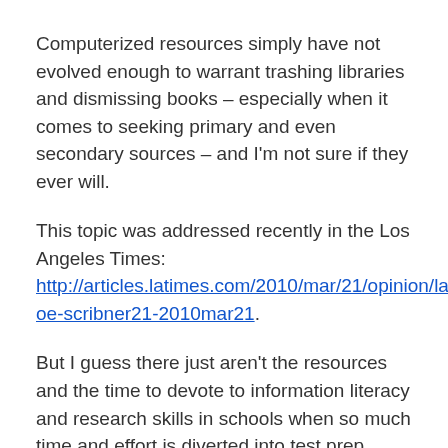Computerized resources simply have not evolved enough to warrant trashing libraries and dismissing books – especially when it comes to seeking primary and even secondary sources – and I'm not sure if they ever will.
This topic was addressed recently in the Los Angeles Times: http://articles.latimes.com/2010/mar/21/opinion/la-oe-scribner21-2010mar21.
But I guess there just aren't the resources and the time to devote to information literacy and research skills in schools when so much time and effort is diverted into test prep. Again, parents are left to cover this at home. Sigh.